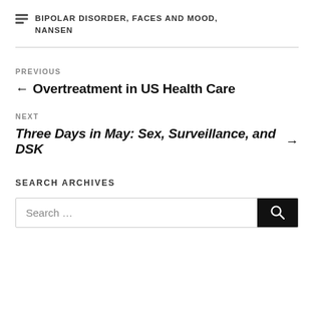BIPOLAR DISORDER, FACES AND MOOD, NANSEN
PREVIOUS
← Overtreatment in US Health Care
NEXT
Three Days in May: Sex, Surveillance, and DSK →
SEARCH ARCHIVES
Search …